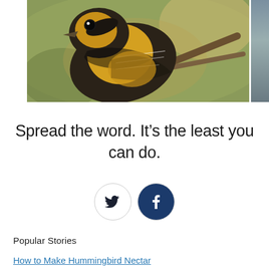[Figure (photo): Close-up photo of a yellow and black warbler bird perched on a branch, with a partial second image cropped at the right edge]
Spread the word. It’s the least you can do.
[Figure (infographic): Two circular social share buttons: Twitter bird icon (outline circle) and Facebook 'f' icon (filled dark blue circle)]
Popular Stories
How to Make Hummingbird Nectar